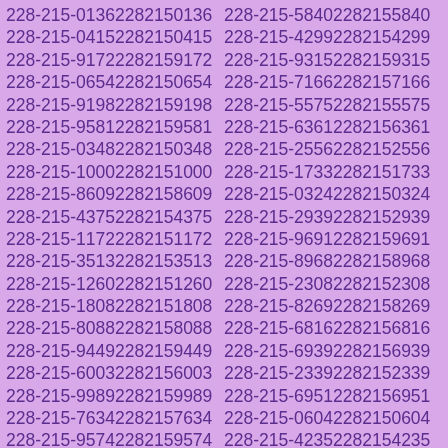| 228-215-0136 | 2282150136 | 228-215-5840 | 2282155840 |
| 228-215-0415 | 2282150415 | 228-215-4299 | 2282154299 |
| 228-215-9172 | 2282159172 | 228-215-9315 | 2282159315 |
| 228-215-0654 | 2282150654 | 228-215-7166 | 2282157166 |
| 228-215-9198 | 2282159198 | 228-215-5575 | 2282155575 |
| 228-215-9581 | 2282159581 | 228-215-6361 | 2282156361 |
| 228-215-0348 | 2282150348 | 228-215-2556 | 2282152556 |
| 228-215-1000 | 2282151000 | 228-215-1733 | 2282151733 |
| 228-215-8609 | 2282158609 | 228-215-0324 | 2282150324 |
| 228-215-4375 | 2282154375 | 228-215-2939 | 2282152939 |
| 228-215-1172 | 2282151172 | 228-215-9691 | 2282159691 |
| 228-215-3513 | 2282153513 | 228-215-8968 | 2282158968 |
| 228-215-1260 | 2282151260 | 228-215-2308 | 2282152308 |
| 228-215-1808 | 2282151808 | 228-215-8269 | 2282158269 |
| 228-215-8088 | 2282158088 | 228-215-6816 | 2282156816 |
| 228-215-9449 | 2282159449 | 228-215-6939 | 2282156939 |
| 228-215-6003 | 2282156003 | 228-215-2339 | 2282152339 |
| 228-215-9989 | 2282159989 | 228-215-6951 | 2282156951 |
| 228-215-7634 | 2282157634 | 228-215-0604 | 2282150604 |
| 228-215-9574 | 2282159574 | 228-215-4235 | 2282154235 |
| 228-215-7227 | 2282157227 | 228-215-6812 | 2282156812 |